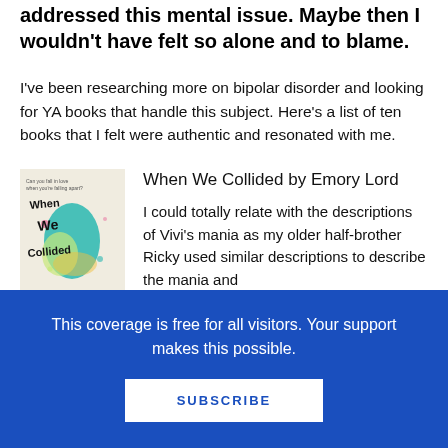addressed this mental issue. Maybe then I wouldn't have felt so alone and to blame.
I've been researching more on bipolar disorder and looking for YA books that handle this subject. Here's a list of ten books that I felt were authentic and resonated with me.
[Figure (illustration): Book cover of 'When We Collided' showing colorful splatter art with handwritten title text]
When We Collided by Emory Lord
I could totally relate with the descriptions of Vivi's mania as my older half-brother Ricky used similar descriptions to describe the mania and
This coverage is free for all visitors. Your support makes this possible.